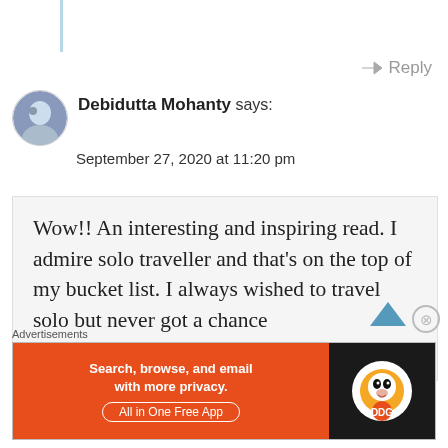Reply
Debidutta Mohanty says: September 27, 2020 at 11:20 pm
Wow!! An interesting and inspiring read. I admire solo traveller and that's on the top of my bucket list. I always wished to travel solo but never got a chance
Advertisements
[Figure (screenshot): DuckDuckGo advertisement banner: Search, browse, and email with more privacy. All in One Free App]